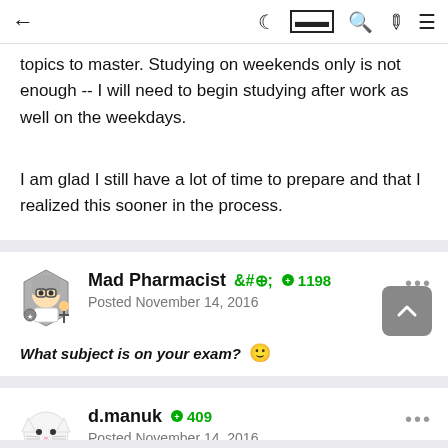← (navigation) dark-mode reader search pen menu
topics to master. Studying on weekends only is not enough -- I will need to begin studying after work as well on the weekdays.
I am glad I still have a lot of time to prepare and that I realized this sooner in the process.
Mad Pharmacist  +1198  Posted November 14, 2016
What subject is on your exam? 🙂
d.manuk  +409  Posted November 14, 2016